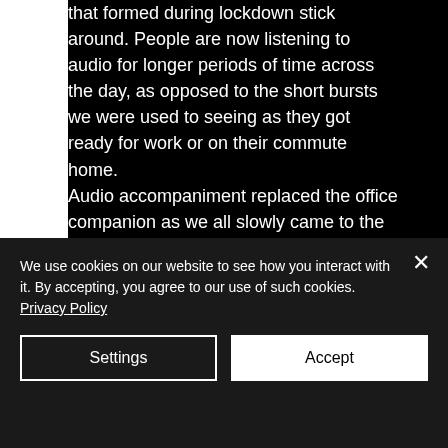that formed during lockdown stick around. People are now listening to audio for longer periods of time across the day, as opposed to the short bursts we were used to seeing as they got ready for work or on their commute home.

Audio accompaniment replaced the office companion as we all slowly came to the realisation that digital is great, but we miss actual people.
We use cookies on our website to see how you interact with it. By accepting, you agree to our use of such cookies. Privacy Policy